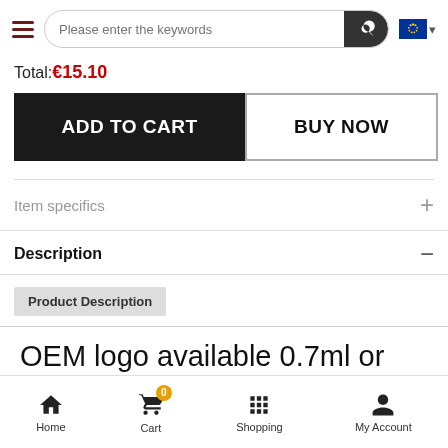Please enter the keywords
Total:€15.10
ADD TO CART
BUY NOW
Item specifics
Description
Product Description
OEM logo available 0.7ml or 1ml ceramic coil Pod cbd oil cartridge pod
Home  Cart  Shopping  My Account